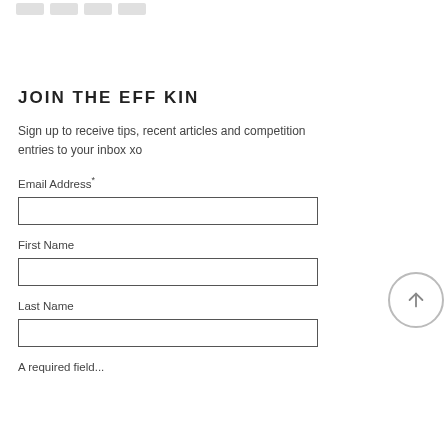JOIN THE EFF KIN
Sign up to receive tips, recent articles and competition entries to your inbox xo
Email Address*
First Name
Last Name
A required field...